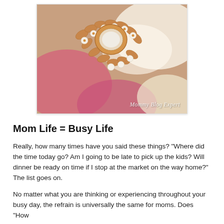[Figure (photo): Close-up photo of gold and pearl jewelry (necklace/bracelet) with pink flower petals and white fabric in background. Watermark reads 'Mommy Blog Expert' in italic white text at bottom right.]
Mom Life = Busy Life
Really, how many times have you said these things? "Where did the time today go? Am I going to be late to pick up the kids? Will dinner be ready on time if I stop at the market on the way home?" The list goes on.
No matter what you are thinking or experiencing throughout your busy day, the refrain is universally the same for moms. Does "How